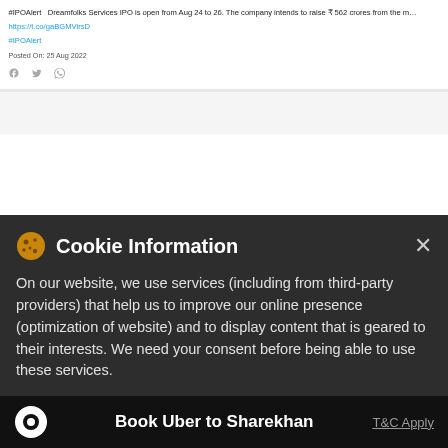#IPOAlert  Dreamfolks Services IPO is open from Aug 24 to 26. The company intends to raise ₹ 562 crores from the m…
https://t.co/gaBGMVirsD
#IPOAlert
Posted On: 25 Aug 2022
[Figure (screenshot): Social share icons: Facebook, Twitter, WhatsApp]
[Figure (screenshot): Android and Apple app store buttons in a sidebar]
Cookie Information
On our website, we use services (including from third-party providers) that help us to improve our online presence (optimization of website) and to display content that is geared to their interests. We need your consent before being able to use these services.
Book Uber to Sharekhan
T&C Apply